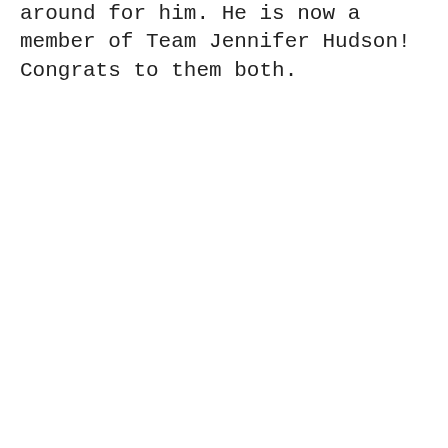around for him. He is now a member of Team Jennifer Hudson! Congrats to them both.